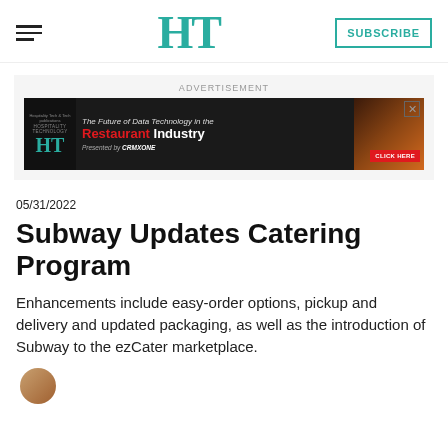HT | SUBSCRIBE
[Figure (other): Advertisement banner: 'The Future of Data Technology in the Restaurant Industry' by CRMXONE, with HT logo and Click Here button]
05/31/2022
Subway Updates Catering Program
Enhancements include easy-order options, pickup and delivery and updated packaging, as well as the introduction of Subway to the ezCater marketplace.
[Figure (photo): Author profile photo (partially visible circle at bottom)]